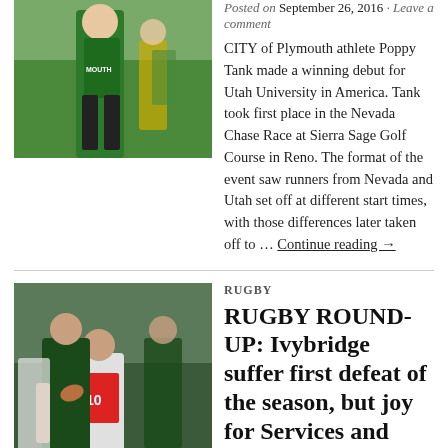[Figure (photo): Woman athlete in green Plymouth jersey running on grass field]
Posted on September 26, 2016 • Leave a comment
CITY of Plymouth athlete Poppy Tank made a winning debut for Utah University in America. Tank took first place in the Nevada Chase Race at Sierra Sage Golf Course in Reno. The format of the event saw runners from Nevada and Utah set off at different start times, with those differences later taken off to … Continue reading →
RUGBY
RUGBY ROUND-UP: Ivybridge suffer first defeat of the season, but joy for Services and Oaks
Posted on September 25, 2016 • Leave a comment
[Figure (photo): Rugby players in a tackle, one in green and black kit carrying the ball, another in red and white kit]
IVYBRIDGE suffered their first defeat